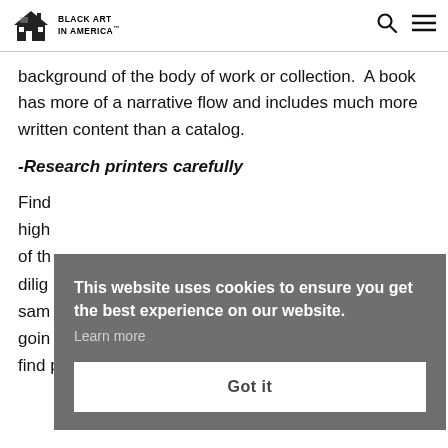BLACK ART IN AMERICA
background of the body of work or collection.  A book has more of a narrative flow and includes much more written content than a catalog.
-Research printers carefully
Find high of th dilig sam goin find printers who specialize in those and are willing
This website uses cookies to ensure you get the best experience on our website.
Learn more
Got it